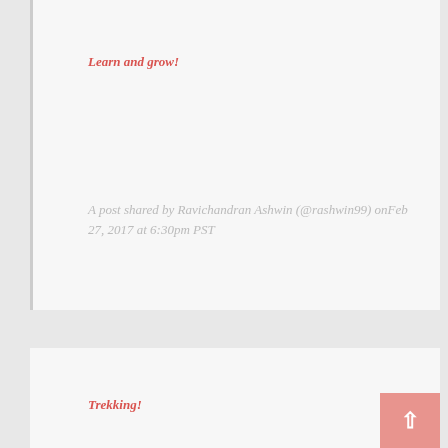Learn and grow!
A post shared by Ravichandran Ashwin (@rashwin99) onFeb 27, 2017 at 6:30pm PST
Trekking!